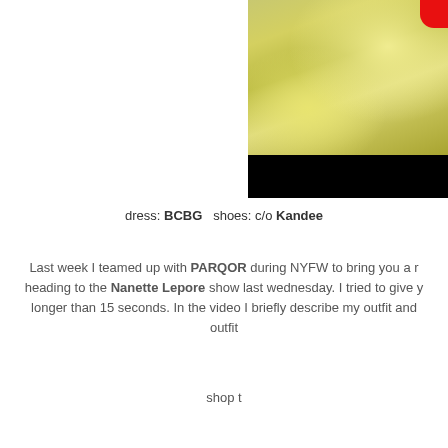[Figure (photo): Outdoor photo partially visible on right side, showing dappled sunlight on ground, with a red circle/badge in top-right corner and a black bar at bottom]
dress: BCBG  shoes: c/o Kandee
Last week I teamed up with PARQOR during NYFW to bring you a r... heading to the Nanette Lepore show last wednesday. I tried to give y... longer than 15 seconds. In the video I briefly describe my outfit and... outfit
shop t